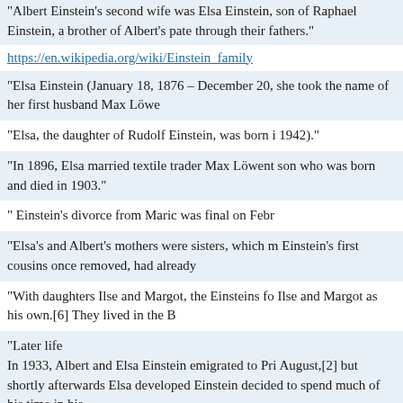“Albert Einstein’s second wife was Elsa Einstein, son of Raphael Einstein, a brother of Albert’s pate through their fathers.”
https://en.wikipedia.org/wiki/Einstein_family
“Elsa Einstein (January 18, 1876 – December 20, she took the name of her first husband Max Löwe
“Elsa, the daughter of Rudolf Einstein, was born i 1942).”
“In 1896, Elsa married textile trader Max Löwent son who was born and died in 1903.”
“ Einstein’s divorce from Maric was final on Febr
“Elsa’s and Albert’s mothers were sisters, which m Einstein’s first cousins once removed, had already
“With daughters Ilse and Margot, the Einsteins fo Ilse and Margot as his own.[6] They lived in the B
“Later life
In 1933, Albert and Elsa Einstein emigrated to Pri August,[2] but shortly afterwards Elsa developed Einstein decided to spend much of his time in his